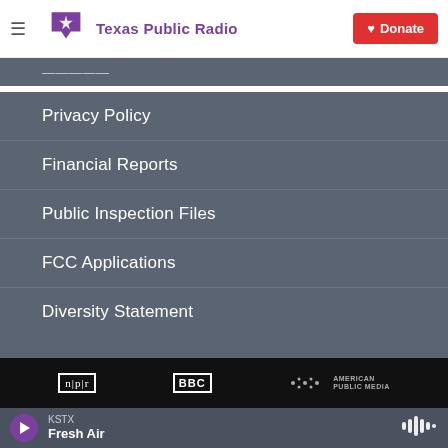Texas Public Radio — Donate
Privacy Policy
Financial Reports
Public Inspection Files
FCC Applications
Diversity Statement
[Figure (logo): NPR, BBC, American Public Media logos in black bar]
KSTX — Fresh Air (player bar)